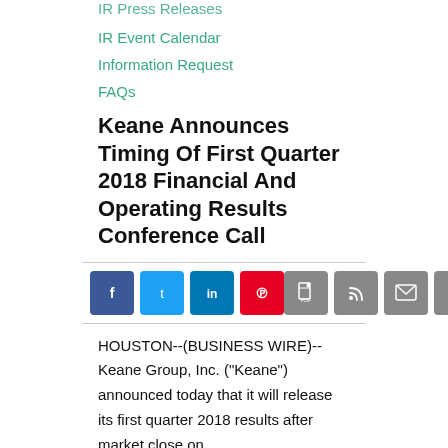IR Press Releases
IR Event Calendar
Information Request
FAQs
Keane Announces Timing Of First Quarter 2018 Financial And Operating Results Conference Call
[Figure (infographic): Social share buttons: Facebook, Twitter, LinkedIn, Pinterest on the left; PDF, RSS, Email, Print icons on the right]
HOUSTON--(BUSINESS WIRE)-- Keane Group, Inc. ("Keane") announced today that it will release its first quarter 2018 results after market close on